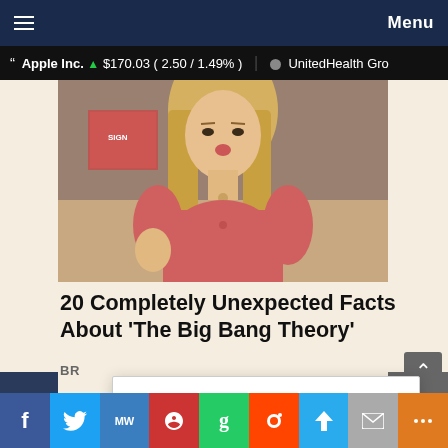≡  Menu
Apple Inc. ▲ $170.03 ( 2.50 / 1.49% )  ● UnitedHealth Gro
[Figure (photo): A blonde woman in a pink/red shirt, appearing to be a scene from The Big Bang Theory TV show]
20 Completely Unexpected Facts About 'The Big Bang Theory'
BR
Please Help...
We don't like to ask for donations, but we're being silenced at every turn...
Thank you!